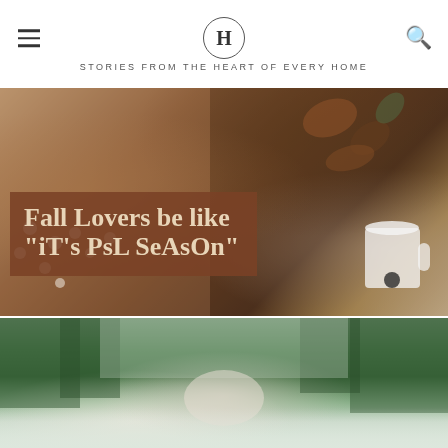H — STORIES FROM THE HEART OF EVERY HOME
[Figure (photo): Close-up autumn lifestyle photo of a woman holding fall floral decorations with dried berries and leaves, alongside a white mug. A warm brown text overlay reads: Fall Lovers be like "iT's PsL SeAsOn"]
[Figure (photo): Outdoor photo of a woman looking up surrounded by green trees, fading to a light overcast sky at the bottom.]